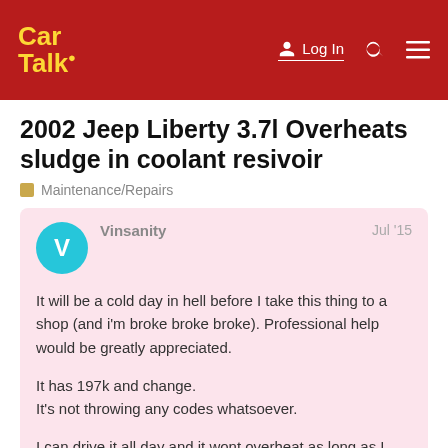Car Talk — Log In
2002 Jeep Liberty 3.7l Overheats sludge in coolant resivoir
Maintenance/Repairs
Vinsanity Jul '15

It will be a cold day in hell before I take this thing to a shop (and i'm broke broke broke). Professional help would be greatly appreciated.

It has 197k and change.
It's not throwing any codes whatsoever.

I can drive it all day and it wont overheat as long as I